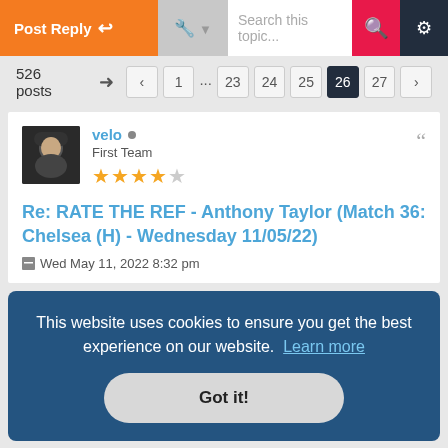[Figure (screenshot): Forum toolbar with Post Reply button, tools, search box, search and gear icons]
526 posts  ◄  1 … 23  24  25  26  27  ►
[Figure (photo): User avatar: person in dark beanie hat]
velo • First Team ★★★★☆
Re: RATE THE REF - Anthony Taylor (Match 36: Chelsea (H) - Wednesday 11/05/22)
Wed May 11, 2022 8:32 pm
This website uses cookies to ensure you get the best experience on our website.  Learn more
Got it!